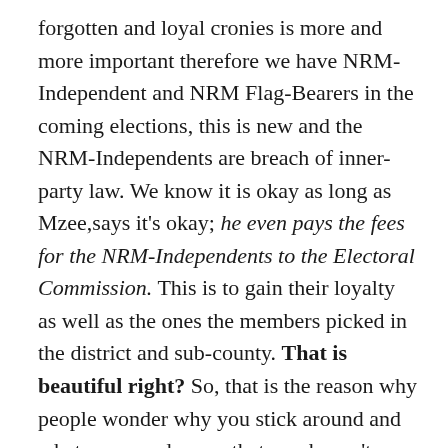forgotten and loyal cronies is more and more important therefore we have NRM-Independent and NRM Flag-Bearers in the coming elections, this is new and the NRM-Independents are breach of inner-party law. We know it is okay as long as Mzee,says it's okay; he even pays the fees for the NRM-Independents to the Electoral Commission. This is to gain their loyalty as well as the ones the members picked in the district and sub-county. That is beautiful right? So, that is the reason why people wonder why you stick around and what can you do now that you haven't already done? Still, let's continue to the 10th January 2016.